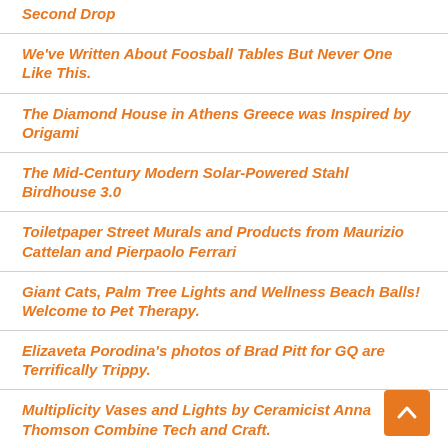Second Drop
We've Written About Foosball Tables But Never One Like This.
The Diamond House in Athens Greece was Inspired by Origami
The Mid-Century Modern Solar-Powered Stahl Birdhouse 3.0
Toiletpaper Street Murals and Products from Maurizio Cattelan and Pierpaolo Ferrari
Giant Cats, Palm Tree Lights and Wellness Beach Balls! Welcome to Pet Therapy.
Elizaveta Porodina's photos of Brad Pitt for GQ are Terrifically Trippy.
Multiplicity Vases and Lights by Ceramicist Anna Thomson Combine Tech and Craft.
Loewe Adorns New Shoes for Women with Wild Heels.